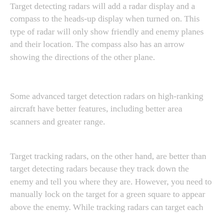Target detecting radars will add a radar display and a compass to the heads-up display when turned on. This type of radar will only show friendly and enemy planes and their location. The compass also has an arrow showing the directions of the other plane.
Some advanced target detection radars on high-ranking aircraft have better features, including better area scanners and greater range.
Target tracking radars, on the other hand, are better than target detecting radars because they track down the enemy and tell you where they are. However, you need to manually lock on the target for a green square to appear above the enemy. While tracking radars can target each